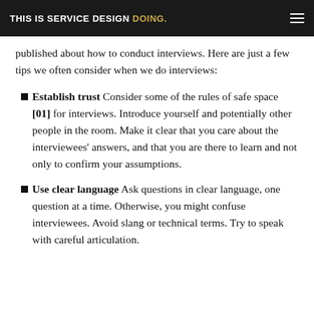THIS IS SERVICE DESIGN DOING.
published about how to conduct interviews. Here are just a few tips we often consider when we do interviews:
Establish trust Consider some of the rules of safe space [01] for interviews. Introduce yourself and potentially other people in the room. Make it clear that you care about the interviewees' answers, and that you are there to learn and not only to confirm your assumptions.
Use clear language Ask questions in clear language, one question at a time. Otherwise, you might confuse interviewees. Avoid slang or technical terms. Try to speak with careful articulation.